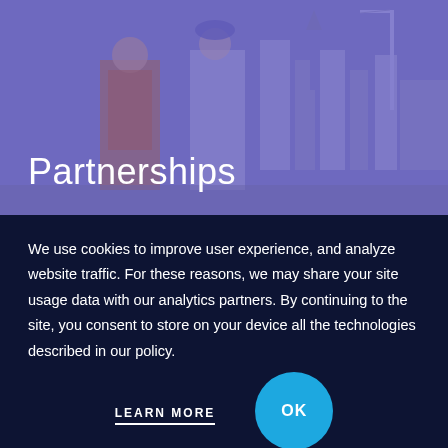[Figure (photo): Two construction workers in safety vests reviewing documents at a construction site with cranes and buildings in the background, overlaid with a purple/blue tint.]
Partnerships
We use cookies to improve user experience, and analyze website traffic. For these reasons, we may share your site usage data with our analytics partners. By continuing to the site, you consent to store on your device all the technologies described in our policy.
LEARN MORE
OK